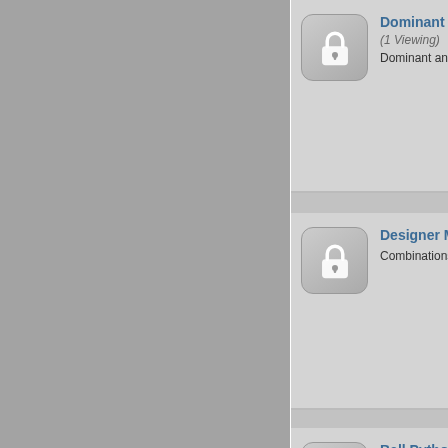[Figure (screenshot): Left gray sidebar panel]
Dominant & Codominant M
(1 Viewing)
Dominant and Codominant base m
Designer Morphs  (1 Viewing)
Combinations of multiple base mo
Ball Python Morphology
Various articles regarding ball python morphs
MY LATEST VIDEOS
[Figure (screenshot): Black video player area with loading spinner]